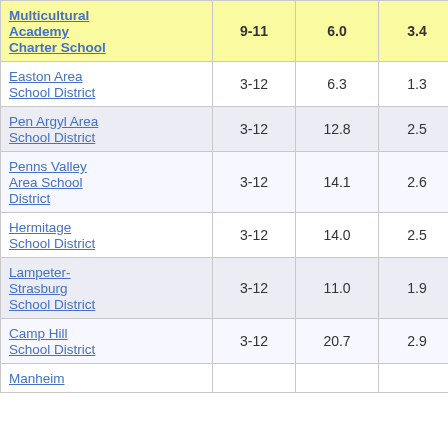| School/District | Grades | Col3 | Col4 | Col5 |
| --- | --- | --- | --- | --- |
| Multicultural Academy Charter School | 9-11 | 6.0 | 3.4 | 1.77 |
| Easton Area School District | 3-12 | 6.3 | 1.3 | 4.91 |
| Pen Argyl Area School District | 3-12 | 12.8 | 2.5 | 5.10 |
| Penns Valley Area School District | 3-12 | 14.1 | 2.6 | 5.33 |
| Hermitage School District | 3-12 | 14.0 | 2.5 | 5.59 |
| Lampeter-Strasburg School District | 3-12 | 11.0 | 1.9 | 5.69 |
| Camp Hill School District | 3-12 | 20.7 | 2.9 | 7.00 |
| Manheim |  |  |  |  |